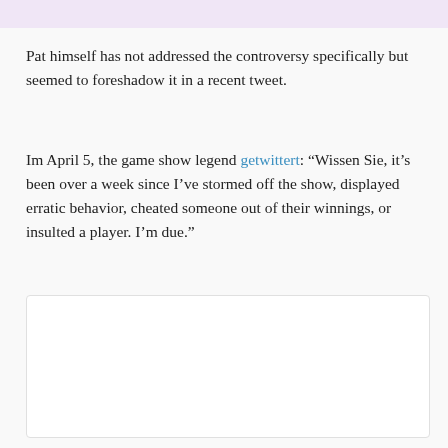Pat himself has not addressed the controversy specifically but seemed to foreshadow it in a recent tweet.
Im April 5, the game show legend getwittert: “Wissen Sie, it’s been over a week since I’ve stormed off the show, displayed erratic behavior, cheated someone out of their winnings, or insulted a player. I’m due.”
[Figure (other): Embedded white box, likely a tweet or social media embed placeholder]